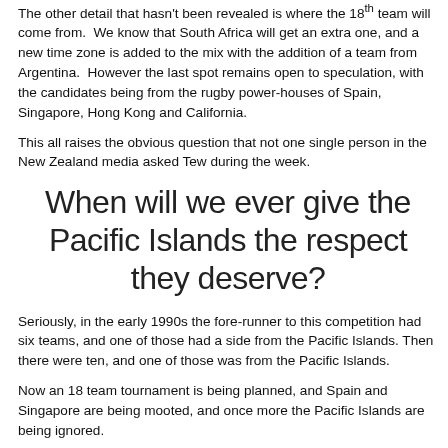The other detail that hasn't been revealed is where the 18th team will come from. We know that South Africa will get an extra one, and a new time zone is added to the mix with the addition of a team from Argentina. However the last spot remains open to speculation, with the candidates being from the rugby power-houses of Spain, Singapore, Hong Kong and California.
This all raises the obvious question that not one single person in the New Zealand media asked Tew during the week.
When will we ever give the Pacific Islands the respect they deserve?
Seriously, in the early 1990s the fore-runner to this competition had six teams, and one of those had a side from the Pacific Islands. Then there were ten, and one of those was from the Pacific Islands.
Now an 18 team tournament is being planned, and Spain and Singapore are being mooted, and once more the Pacific Islands are being ignored.
Not only are they being ignored by the men is suits around a